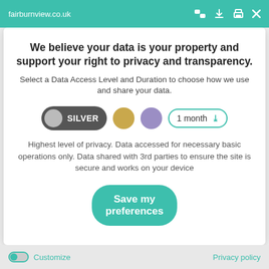fairburnview.co.uk
We believe your data is your property and support your right to privacy and transparency.
Select a Data Access Level and Duration to choose how we use and share your data.
[Figure (infographic): Privacy level selector with SILVER pill button (dark grey with grey circle icon), a gold circle option, a purple circle option, and a '1 month' dropdown selector with teal border and chevron arrow.]
Highest level of privacy. Data accessed for necessary basic operations only. Data shared with 3rd parties to ensure the site is secure and works on your device
Save my preferences
Customize   Privacy policy